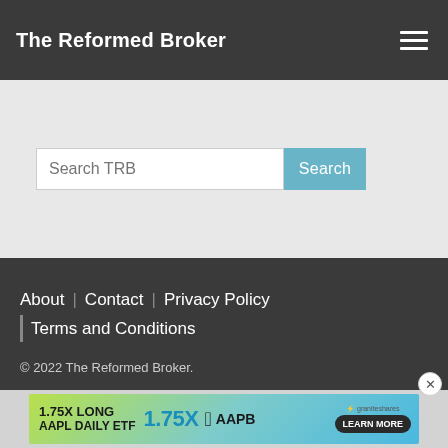The Reformed Broker
Search TRB
About | Contact | Privacy Policy | Terms and Conditions
© 2022 The Reformed Broker.
[Figure (infographic): Advertisement banner: 1.75X LONG AAPL DAILY ETF — 1.75X — Apple logo — AAPB — GraniteShares logo — LEARN MORE button]